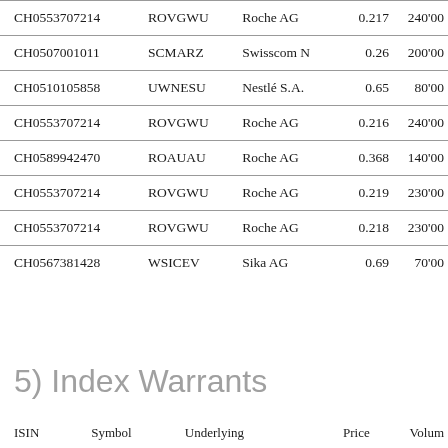| ISIN | Symbol | Underlying | Price | Volume |
| --- | --- | --- | --- | --- |
| CH0553707214 | ROVGWU | Roche AG | 0.217 | 240'00 |
| CH0507001011 | SCMARZ | Swisscom N | 0.26 | 200'00 |
| CH0510105858 | UWNESU | Nestlé S.A. | 0.65 | 80'00 |
| CH0553707214 | ROVGWU | Roche AG | 0.216 | 240'00 |
| CH0589942470 | ROAUAU | Roche AG | 0.368 | 140'00 |
| CH0553707214 | ROVGWU | Roche AG | 0.219 | 230'00 |
| CH0553707214 | ROVGWU | Roche AG | 0.218 | 230'00 |
| CH0567381428 | WSICEV | Sika AG | 0.69 | 70'00 |
5) Index Warrants
| ISIN | Symbol | Underlying | Price | Volume |
| --- | --- | --- | --- | --- |